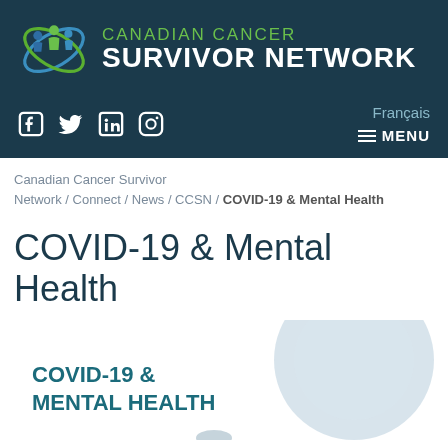[Figure (logo): Canadian Cancer Survivor Network logo with icon and text on dark teal background]
Canadian Cancer Survivor Network / Connect / News / CCSN / COVID-19 & Mental Health
COVID-19 & Mental Health
[Figure (illustration): Article thumbnail image with text COVID-19 & MENTAL HEALTH on teal background with decorative circle element]